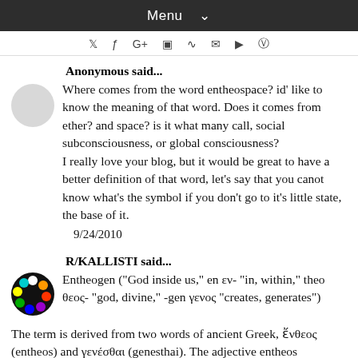Menu
social icons: twitter, facebook, google+, instagram, rss, email, youtube, pinterest
Anonymous said...
Where comes from the word entheospace? id' like to know the meaning of that word. Does it comes from ether? and space? is it what many call, social subconsciousness, or global consciousness?
I really love your blog, but it would be great to have a better definition of that word, let's say that you canot know what's the symbol if you don't go to it's little state, the base of it.
9/24/2010
R/KALLISTI said...
Entheogen ("God inside us," en εν- "in, within," theo θεος- "god, divine," -gen γενος "creates, generates")
The term is derived from two words of ancient Greek, ἔνθεος (entheos) and γενέσθαι (genesthai). The adjective entheos translates to English as "full of the god, inspired, possessed," and is the root of the